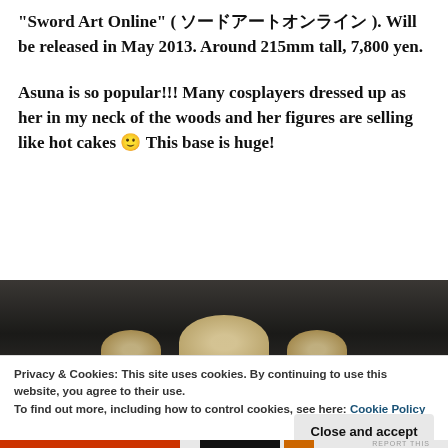“Sword Art Online” ( ソードアートオンライン ). Will be released in May 2013. Around 215mm tall, 7,800 yen.
Asuna is so popular!!! Many cosplayers dressed up as her in my neck of the woods and her figures are selling like hot cakes 🙂 This base is huge!
[Figure (photo): Partial photo of an anime figure on a dark marble-textured base, showing rounded light-colored sculptural elements at the bottom.]
Privacy & Cookies: This site uses cookies. By continuing to use this website, you agree to their use.
To find out more, including how to control cookies, see here: Cookie Policy
Close and accept